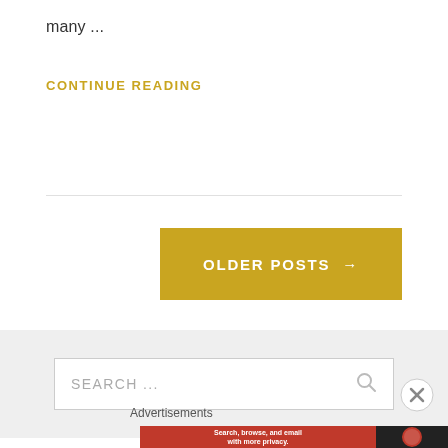many ...
CONTINUE READING
OLDER POSTS →
SEARCH ...
Advertisements
Search, browse, and email with more privacy.